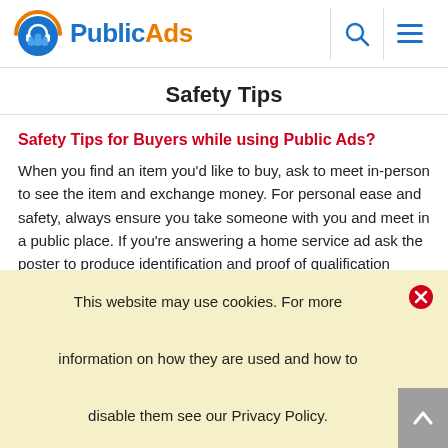PublicAds
Safety Tips
Safety Tips for Buyers while using Public Ads?
When you find an item you'd like to buy, ask to meet in-person to see the item and exchange money. For personal ease and safety, always ensure you take someone with you and meet in a public place. If you're answering a home service ad ask the poster to produce identification and proof of qualification before inviting
This website may use cookies. For more information on how they are used and how to disable them see our Privacy Policy.